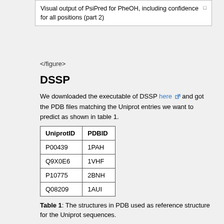Visual output of PsiPred for PheOH, including confidence for all positions (part 2)
</figure>
DSSP
We downloaded the executable of DSSP here and got the PDB files matching the Uniprot entries we want to predict as shown in table 1.
| UniprotID | PDBID |
| --- | --- |
| P00439 | 1PAH |
| Q9X0E6 | 1VHF |
| P10775 | 2BNH |
| Q08209 | 1AUI |
Table 1: The structures in PDB used as reference structure for the Uniprot sequences.
The calculation of the structure is very simple:
dssp -i <PDBID>.pdb >